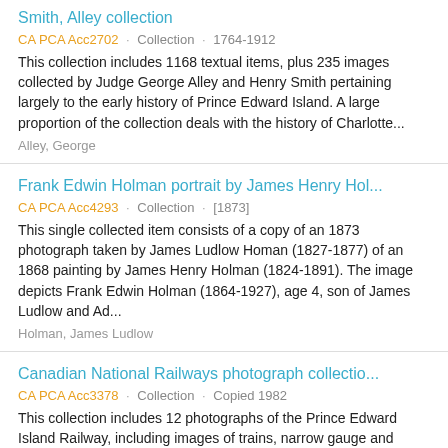Smith, Alley collection
CA PCA Acc2702 · Collection · 1764-1912
This collection includes 1168 textual items, plus 235 images collected by Judge George Alley and Henry Smith pertaining largely to the early history of Prince Edward Island. A large proportion of the collection deals with the history of Charlotte...
Alley, George
Frank Edwin Holman portrait by James Henry Hol...
CA PCA Acc4293 · Collection · [1873]
This single collected item consists of a copy of an 1873 photograph taken by James Ludlow Homan (1827-1877) of an 1868 painting by James Henry Holman (1824-1891). The image depicts Frank Edwin Holman (1864-1927), age 4, son of James Ludlow and Ad...
Holman, James Ludlow
Canadian National Railways photograph collectio...
CA PCA Acc3378 · Collection · Copied 1982
This collection includes 12 photographs of the Prince Edward Island Railway, including images of trains, narrow gauge and standard gauge tracks, and switches.
Canadian National Railways